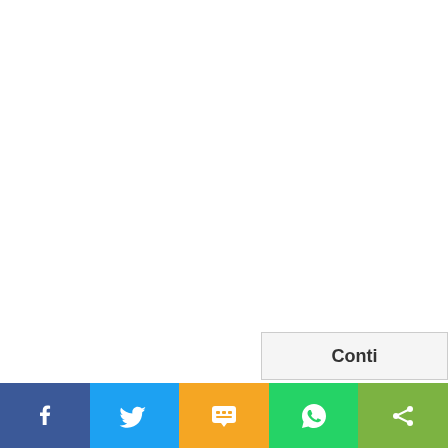visiting. Let's ...
Conti...
[Figure (other): Social sharing bar with Facebook, Twitter, SMS, WhatsApp, and generic share buttons]